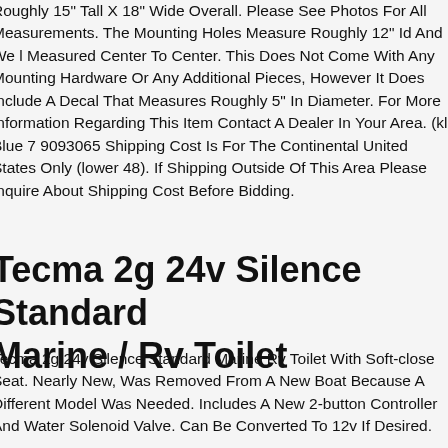Roughly 15" Tall X 18" Wide Overall. Please See Photos For All Measurements. The Mounting Holes Measure Roughly 12" Id And We Measured Center To Center. This Does Not Come With Any Mounting Hardware Or Any Additional Pieces, However It Does Include A Decal That Measures Roughly 5" In Diameter. For More Information Regarding This Item Contact A Dealer In Your Area. (kl Blue 7 9093065) Shipping Cost Is For The Continental United States Only (lower 48). If Shipping Outside Of This Area Please Inquire About Shipping Cost Before Bidding.
Tecma 2g 24v Silence Standard Marine / Rv Toilet
Tecma 2g 24v Silence Standard Marine Rv Toilet With Soft-close Seat. Nearly New, Was Removed From A New Boat Because A Different Model Was Needed. Includes A New 2-button Controller And Water Solenoid Valve. Can Be Converted To 12v If Desired.